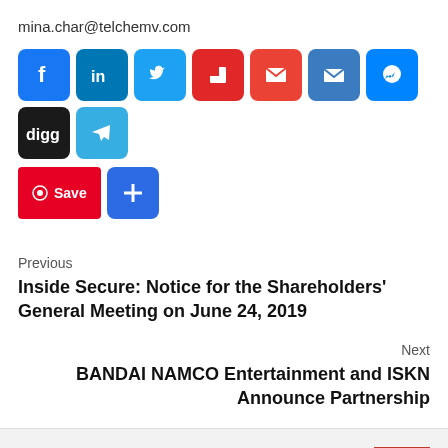mina.char@telchemv.com
[Figure (infographic): Social share icons: Facebook, LinkedIn, Twitter, Flipboard, Gmail, Email, Messenger, Digg, Telegram, Pinterest Save, and a plus/share button]
Previous
Inside Secure: Notice for the Shareholders' General Meeting on June 24, 2019
Next
BANDAI NAMCO Entertainment and ISKN Announce Partnership
More Stories